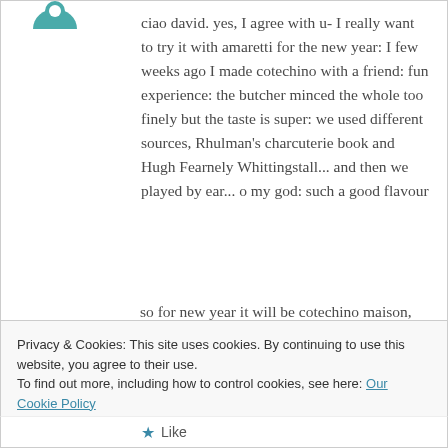[Figure (logo): Partial circular teal/green avatar icon at top left]
ciao david. yes, I agree with u- I really want to try it with amaretti for the new year: I few weeks ago I made cotechino with a friend: fun experience: the butcher minced the whole too finely but the taste is super: we used different sources, Rhulman's charcuterie book and Hugh Fearnely Whittingstall... and then we played by ear... o my god: such a good flavour
so for new year it will be cotechino maison,
Privacy & Cookies: This site uses cookies. By continuing to use this website, you agree to their use.
To find out more, including how to control cookies, see here: Our Cookie Policy
Close and accept
Like